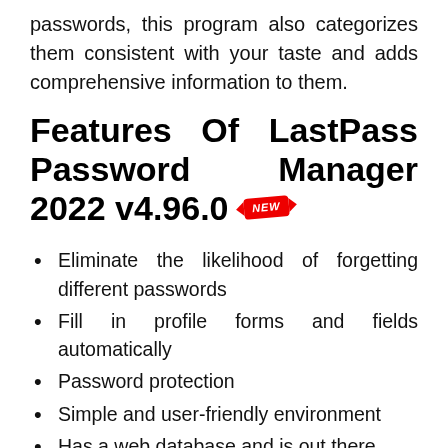passwords, this program also categorizes them consistent with your taste and adds comprehensive information to them.
Features Of LastPass Password Manager 2022 v4.96.0 NEW
Eliminate the likelihood of forgetting different passwords
Fill in profile forms and fields automatically
Password protection
Simple and user-friendly environment
Has a web database and is out there
Access and manage your data from